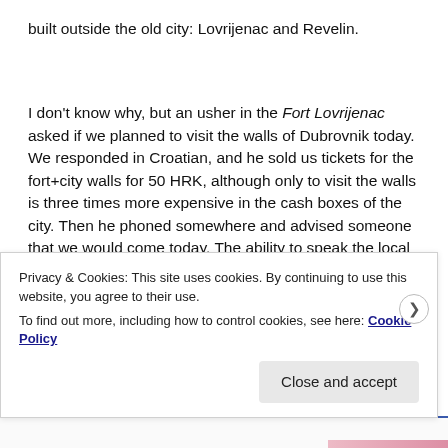built outside the old city: Lovrijenac and Revelin.
I don't know why, but an usher in the Fort Lovrijenac asked if we planned to visit the walls of Dubrovnik today. We responded in Croatian, and he sold us tickets for the fort+city walls for 50 HRK, although only to visit the walls is three times more expensive in the cash boxes of the city. Then he phoned somewhere and advised someone that we would come today. The ability to speak the local language
Privacy & Cookies: This site uses cookies. By continuing to use this website, you agree to their use.
To find out more, including how to control cookies, see here: Cookie Policy